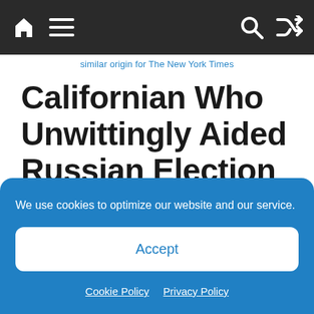Nav bar with home, menu, search, shuffle icons
similar origin for The New York Times
Californian Who Unwittingly Aided Russian Election Interference Gets 6 Months in Prison
We use cookies to optimize our website and our service.
Accept
Cookie Policy  Privacy Policy